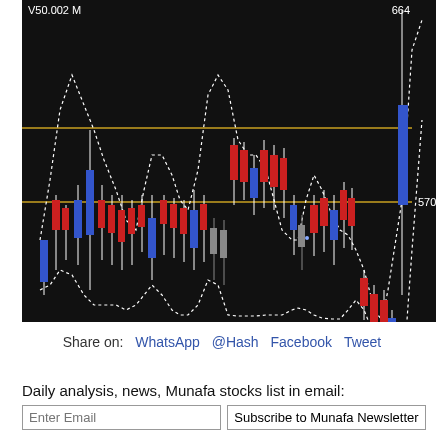[Figure (continuous-plot): Candlestick stock chart on dark background showing price action with red (bearish) and blue (bullish) candles, a dotted white Bollinger band envelope, and two horizontal golden lines at ~570 and ~584 price levels. Labels V50.002 M top-left and 664 top-right, 570 right side.]
Share on:  WhatsApp  @Hash  Facebook  Tweet
Daily analysis, news, Munafa stocks list in email:
Enter Email
Subscribe to Munafa Newsletter